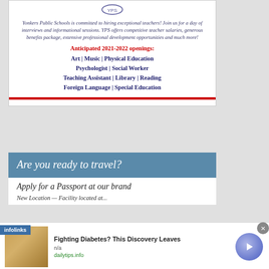[Figure (logo): Yonkers Public Schools logo at top of ad]
Yonkers Public Schools is committed to hiring exceptional teachers! Join us for a day of interviews and informational sessions. YPS offers competitive teacher salaries, generous benefits package, extensive professional development opportunities and much more!
Anticipated 2021-2022 openings:
Art | Music | Physical Education Psychologist | Social Worker Teaching Assistant | Library | Reading Foreign Language | Special Education
[Figure (infographic): Passport travel advertisement with blue header reading 'Are you ready to travel?' and body text 'Apply for a Passport at our brand']
Fighting Diabetes? This Discovery Leaves
n/a
dailytips.info